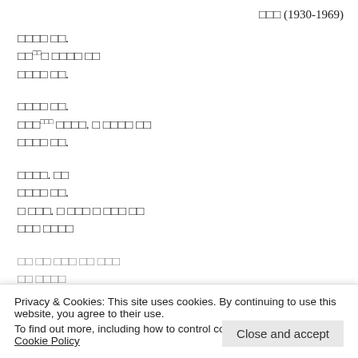□□□ (1930-1969)
□□□□ □□.
□□(□□)□ □□□□□ □□
□□□□ □□.
□□□□ □□.
□□□(□□□) □□□□. □ □□□□ □□
□□□□ □□.
□□□□. □□
□□□□ □□.
□ □□□. □ □□□ □ □□□ □□
□□□ □□□□
□□ □□ □□□ □□ □□□
□□ □□□□
Privacy & Cookies: This site uses cookies. By continuing to use this website, you agree to their use.
To find out more, including how to control cookies, see here:
Cookie Policy
Close and accept